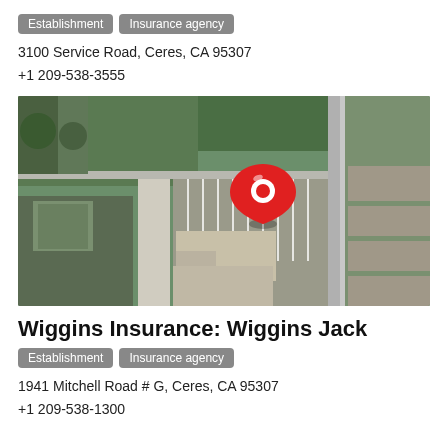Establishment  Insurance agency
3100 Service Road, Ceres, CA 95307
+1 209-538-3555
[Figure (map): Aerial/satellite map view with a red location pin marker showing a commercial property area in Ceres, CA]
Wiggins Insurance: Wiggins Jack
Establishment  Insurance agency
1941 Mitchell Road # G, Ceres, CA 95307
+1 209-538-1300